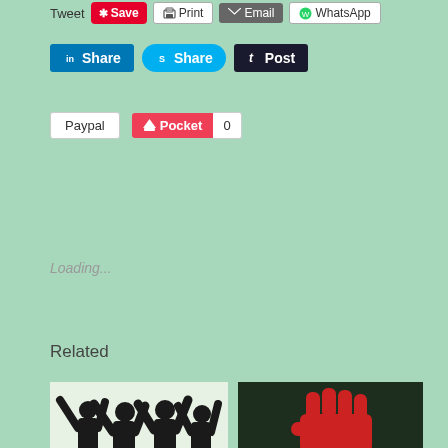[Figure (screenshot): Social sharing buttons row 1: Tweet, Save (red), Print, Email, WhatsApp]
[Figure (screenshot): Social sharing buttons row 2: LinkedIn Share (blue), Skype Share (light blue), Tumblr Post (dark)]
[Figure (screenshot): Social sharing buttons row 3: Paypal, Pocket with count 0]
Loading...
Related
[Figure (illustration): Solidarity image: black silhouettes of people with raised fists/arms on light background]
[Figure (illustration): Resist image: red raised fist on dark background with text RESIST SILENCE IS CONSENT]
Difference between Sanders and Stein: Difference between W... B...
Bernie Sanders